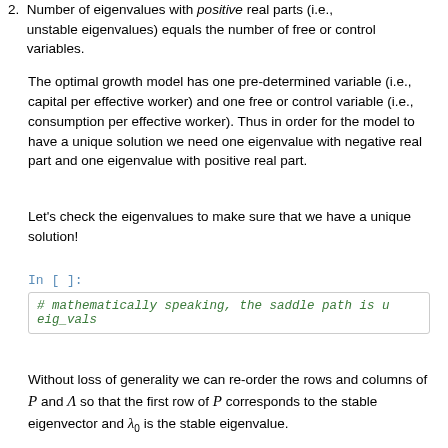2. Number of eigenvalues with positive real parts (i.e., unstable eigenvalues) equals the number of free or control variables.
The optimal growth model has one pre-determined variable (i.e., capital per effective worker) and one free or control variable (i.e., consumption per effective worker). Thus in order for the model to have a unique solution we need one eigenvalue with negative real part and one eigenvalue with positive real part.
Let's check the eigenvalues to make sure that we have a unique solution!
In [ ]:
# mathematically speaking, the saddle path is u
eig_vals
Without loss of generality we can re-order the rows and columns of P and Λ so that the first row of P corresponds to the stable eigenvector and λ₀ is the stable eigenvalue.